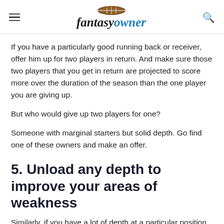fantasyowner
If you have a particularly good running back or receiver, offer him up for two players in return. And make sure those two players that you get in return are projected to score more over the duration of the season than the one player you are giving up.
But who would give up two players for one?
Someone with marginal starters but solid depth. Go find one of these owners and make an offer.
5. Unload any depth to improve your areas of weakness
Similarly, if you have a lot of depth at a particular position, get rid of it now.